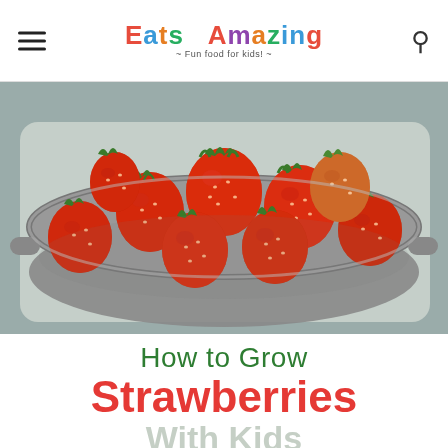Eats Amazing - Fun food for kids!
[Figure (photo): A gray colander filled with fresh red strawberries, photographed from above in a kitchen sink setting.]
How to Grow Strawberries With Kids